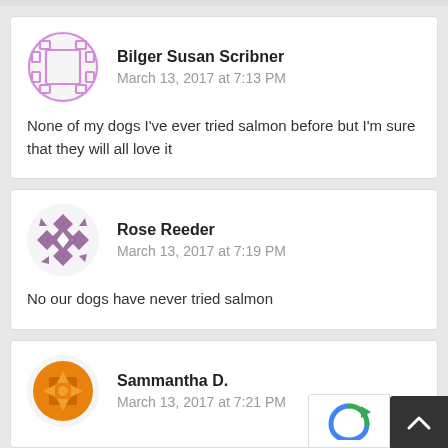Bilger Susan Scribner
March 13, 2017 at 7:13 PM
None of my dogs I've ever tried salmon before but I'm sure that they will all love it
Rose Reeder
March 13, 2017 at 7:19 PM
No our dogs have never tried salmon
Sammantha D.
March 13, 2017 at 7:21 PM